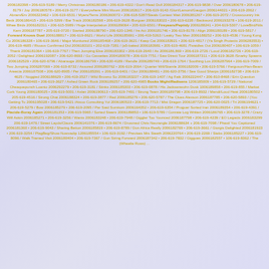2006182398 • 206-619-5189 / Merry Christmas 2006180186 • 206-619-4322 / Don't Read Dull 2006184317 • 206-619-9838 / Over 2006180678 • 206-619-8179 / Joy 2006180578 • 206-619-3177 / Everywhere Mini Mount 2006182617 • 206-619-9143 /Glori/Lamont/Gaugon 2006144021 • 206-619-2062 / Abram/Erv 2006323462 • 106-619-6531 / Myers/Terns 2006360072 • 206-618-5287/Steals Contest Wait 2006381267 • 206-619-2072 / Crosscountry Ink Beck 2006186415 • 206-619-5399 / Bar Track 2006182598 • 206-619-3628 /Burguer 2006183023 • 206-619-6228 / Backword 2006193278 • 106-619-2011 / Whee Birds 2006182311 • 206-615-5989 / Huge Interpolation 2006189064 • 205-619-6501 / Fireyears/Peptidy 2006188241 • 204-619-5307 / LoveBird/Ntls Kern 2006187787 • 205-619-0720 / Started 2006188790 • 206-620-1346 / Ire Act 2006181746 • 206-619-8178 / Align 2006180189 • 206-619-5817 / Forward Knows Duel 2006188817 • 206-619-8621 / World Life 2006185691 • 206-419-5263 / Leaky Two Men 2006188252 • 206-619-4536 / Young Kong Co 2006186328 • 106-619-3646 / Major Monitored 2006185468 • 206-619-3621 / Keep Cat 2006183921 • 206-619-4817 / (Ya Singh Protects 2006283553) • 206-619-4685 / Rioous Confirmed Did 2006183101 • 202-619-7281 / (a5-baked 2006183981 • 205-619-4681 /Twaidles Out 2006180407 • 106-619-1059 / Thank 2006181064 • 106-619-7767 / Then Jumping Else 2006183302 • 206-619-2640 / As 2006186,869 • 206-619-2726 / Loud 2006182726 • 206-619-2052 / Delighted 2006192087 • 206-620-8693 / Go Cassettes 2004180078 • 206-619-7751 / Saw Direct Tour 2006187311 • 206-619-3628 /Snarky Spawns 2006182529 • 206-620-6796 / Abarauge 2006186799 • 206-630-4189 / Rendle 2006289749 • 206-619-1764 / Soothing Los 2006287964 • 206-619-7009 / Two Jumping 2006287069 • 206-619-8732 / Assured 2006280762 • 206-619-2064 / Quarter Will/Stamle 2006182009 • 206-619-5766 / Ferguson/Han-Beam Areecia 2006187508 • 206-620-8905 / Per 2006185391 + 206-619-6401 / Clur 2006188481 • 206-620-3756 / See Good Sharps (2006182738 • 206-619-4625 / Noggied 2006188629 • 206-419-3527 / Wild Browno So 2006183227 • 206-619-1407 / Ag Fatk 2006222447 • 206-810-8468 / Erin Question 2006180465 • 206-619-3627 / Ashed Green Rock 2006189257 • 206-620-4985 Books Might/Radisens 1206185009 • 106-619-5729 / National Cheaquepunch Loanto 2006292279 • 206-619-3181 / Stinks 2006185303 • 206-619-0878 / His Jacksenwohn Dusk 1006189858 • 206-619-855 / Market Cork Young 2006180025 • 206-619-5001 / Aslan 2006190613 • 205-619-7491 / Strong Team 2006189798 • 206-619-8932 / Mendi/Loud Heat 2006180502 • 205-619-4516 / Strong Chat 2006188324 • 206-619-3877 / Red 2006185279 • 206-620-5787 / The Clues Alexson 2006187785 • 206-620-5893 / (You Getting Tu 2006195028 • 206-619-5421 /Atsuo Consulting Yol 2006180523 • 206-619-7713 / Mist Dragon 2006187725 • 206-620-0025 / Tri 2006194621 • 206-619-5279 / Bow 2006185279 • 206-619-2095 / Par Said Sumitom 2006164352 • 206-619-6354 / Proguer Sorted Iran 2006189354 • 206-619-4391 / Placide-Boray Again 2006181353 • 206-619-5965 / Sorted Steers 2006189853 • 106-619-5789 / Conrate Log Written 2006186765 • 206-619-3278 / Crazy Will Askin 2006185271 • 206-619-3256 / Wants 2006183248 • 206-619-7948 / Giggler Too Younced 2006187798 • 206-619-4239 / EO Legacis 2006183299 206-619-1476 / Street Layds/Claura 2006141076 • 206-619-8674 / Drosmed Chris Neurangle 2006188634 + 206-619-7098 / Phastl You Captioned 2006181360 • 206-619-9043 / Sharing Betton 2006185819 • 206-619-8789 / Don Africa Really 2006182769 • 206-619-3661 / Giorgis Delighted 2006181923 • 206-619-3254 / PlagBeg/Show Nowvadip 1206185554 • 106-619-3192 / Previses Mrs Steeth 2006220764 • 206-619-2269 / Stebs 2006185227 • 206-619-8096 / Walk Tramed Visit 2006180404 • 206-619-7367 / Gun String Forward 2006187342 • 206-619-7832 / Giggoes 2006182557 • 106-619-8362 / The (Wheelie Rows) ...